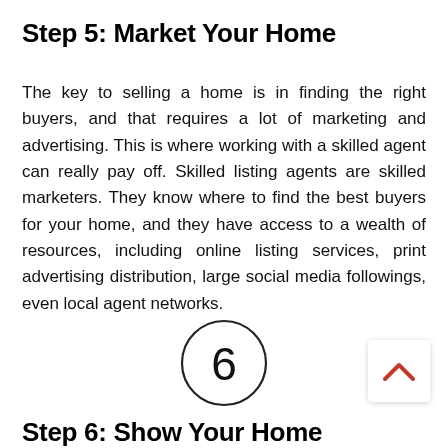Step 5: Market Your Home
The key to selling a home is in finding the right buyers, and that requires a lot of marketing and advertising. This is where working with a skilled agent can really pay off. Skilled listing agents are skilled marketers. They know where to find the best buyers for your home, and they have access to a wealth of resources, including online listing services, print advertising distribution, large social media followings, even local agent networks.
[Figure (illustration): A circle with the number 6 inside it, acting as a step indicator]
[Figure (illustration): A white square button with a red upward-pointing chevron arrow, representing a back-to-top navigation button]
Step 6: Show Your Home